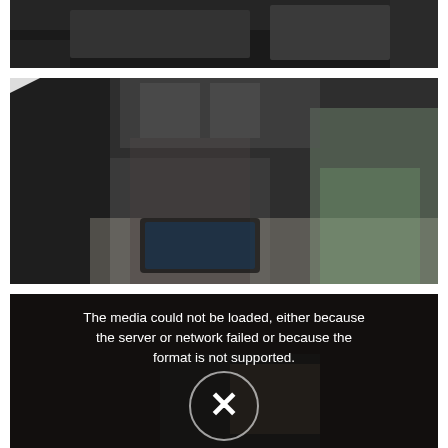[Figure (photo): Partial view of a classroom scene, dark/cropped at top]
[Figure (screenshot): Video thumbnail showing a young boy using a tablet and an older girl in a green polo shirt seated at a table, with a play button overlay indicating a video]
[Figure (screenshot): Video player error screen with darkened overlay of a child reading, showing error message: 'The media could not be loaded, either because the server or network failed or because the format is not supported.' with an X dismiss button]